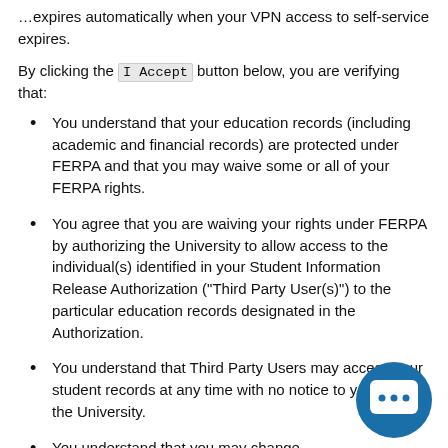...expires automatically when your VPN access to self-service expires.
By clicking the I Accept button below, you are verifying that:
You understand that your education records (including academic and financial records) are protected under FERPA and that you may waive some or all of your FERPA rights.
You agree that you are waiving your rights under FERPA by authorizing the University to allow access to the individual(s) identified in your Student Information Release Authorization ("Third Party User(s)") to the particular education records designated in the Authorization.
You understand that Third Party Users may access your student records at any time with no notice to you from the University.
You understand that you may change, amend or end this authorization at any time.